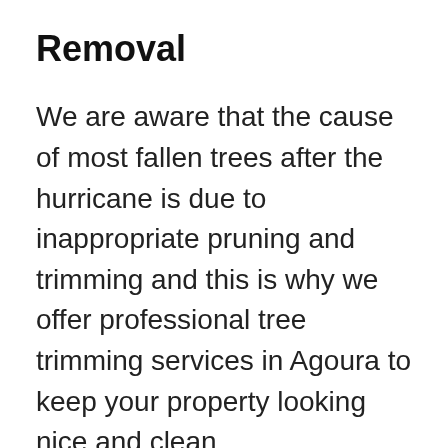Removal
We are aware that the cause of most fallen trees after the hurricane is due to inappropriate pruning and trimming and this is why we offer professional tree trimming services in Agoura to keep your property looking nice and clean.
We do this with the right equipment needed and an ever-